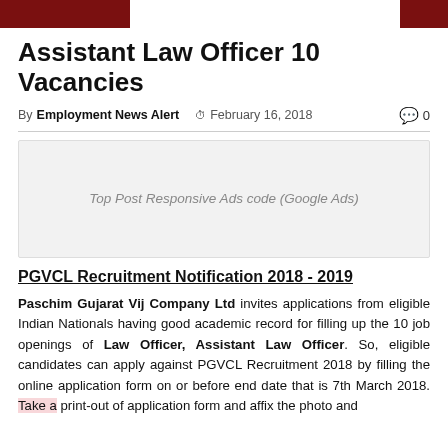Assistant Law Officer 10 Vacancies
By Employment News Alert  February 16, 2018  0
[Figure (other): Top Post Responsive Ads code (Google Ads) placeholder box]
PGVCL Recruitment Notification 2018 - 2019
Paschim Gujarat Vij Company Ltd invites applications from eligible Indian Nationals having good academic record for filling up the 10 job openings of Law Officer, Assistant Law Officer. So, eligible candidates can apply against PGVCL Recruitment 2018 by filling the online application form on or before end date that is 7th March 2018. Take a print-out of application form and affix the photo and